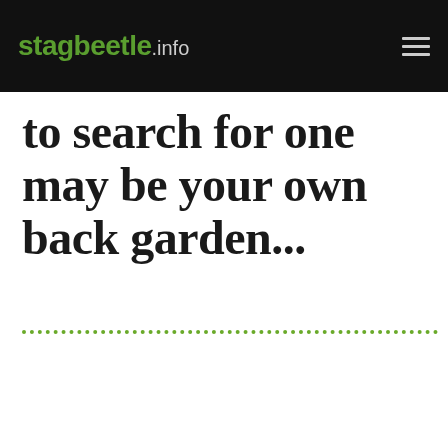stagbeetle.info
to search for one may be your own back garden...